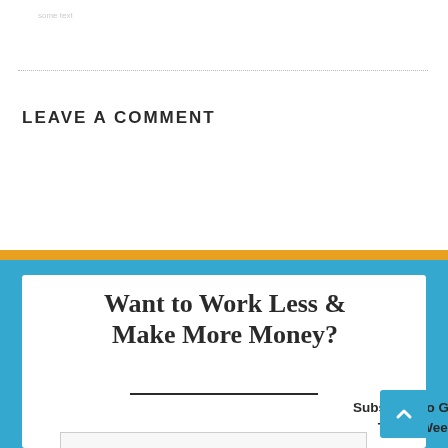LEAVE A COMMENT
Want to Work Less & Make More Money?
Subscribe to Get My FREE Productivity Tools, Weekly Tips & Strategies